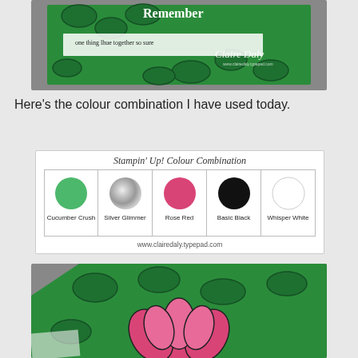[Figure (photo): Photo of a handmade green card with leaf/floral design and handwritten text, branded with Claire Daly watermark]
Here's the colour combination I have used today.
[Figure (infographic): Stampin' Up! Colour Combination chart showing 5 colour swatches: Cucumber Crush (green circle), Silver Glimmer (silver glitter circle), Rose Red (pink circle), Basic Black (black circle), Whisper White (white circle), with website www.clairedaly.typepad.com]
[Figure (photo): Close-up photo of a handmade card corner showing green background with pink/rose lotus flower stamped image]